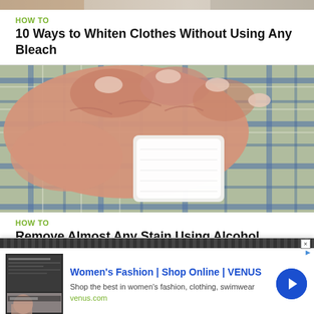[Figure (photo): Cropped top portion of an image, partially visible at the top of the page]
HOW TO
10 Ways to Whiten Clothes Without Using Any Bleach
[Figure (photo): Close-up photo of a hand holding a white cloth or wipe against a green and blue plaid shirt, appearing to dab or clean a stain]
HOW TO
Remove Almost Any Stain Using Alcohol
[Figure (screenshot): Partial view of a third article image, mostly cropped]
[Figure (infographic): Advertisement banner for Women's Fashion | Shop Online | VENUS. Shows ad image thumbnail on left, headline 'Women's Fashion | Shop Online | VENUS', subtext 'Shop the best in women's fashion, clothing, swimwear', URL 'venus.com', and a blue circular arrow button on right.]